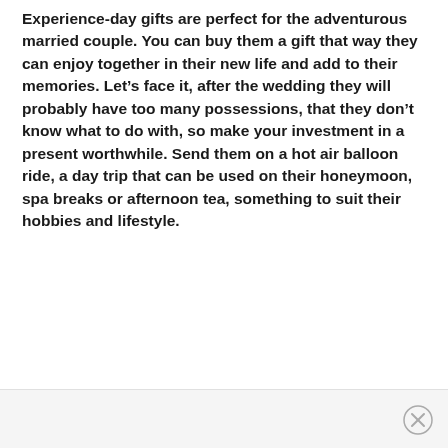Experience-day gifts are perfect for the adventurous married couple. You can buy them a gift that way they can enjoy together in their new life and add to their memories. Let's face it, after the wedding they will probably have too many possessions, that they don't know what to do with, so make your investment in a present worthwhile. Send them on a hot air balloon ride, a day trip that can be used on their honeymoon, spa breaks or afternoon tea, something to suit their hobbies and lifestyle.